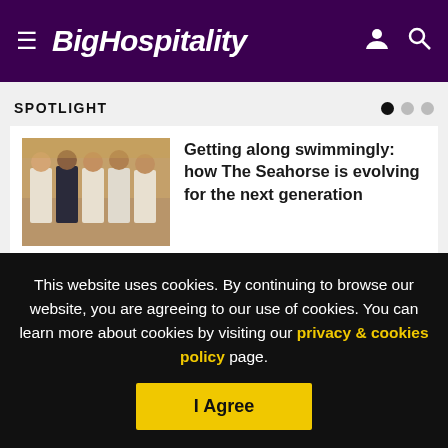BigHospitality
SPOTLIGHT
[Figure (photo): Group photo of chefs in white uniforms with one person in dark clothing, posed together in a restaurant setting]
Getting along swimmingly: how The Seahorse is evolving for the next generation
This website uses cookies. By continuing to browse our website, you are agreeing to our use of cookies. You can learn more about cookies by visiting our privacy & cookies policy page.
I Agree